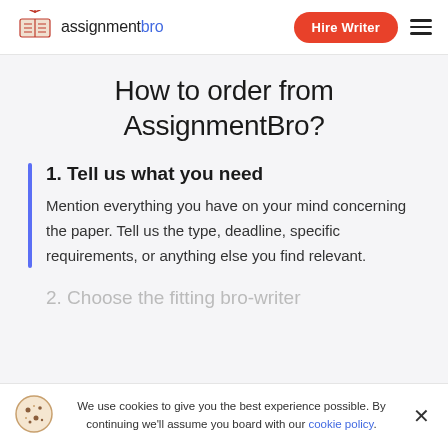assignmentbro — Hire Writer
How to order from AssignmentBro?
1. Tell us what you need
Mention everything you have on your mind concerning the paper. Tell us the type, deadline, specific requirements, or anything else you find relevant.
2. Choose the fitting bro-writer
We use cookies to give you the best experience possible. By continuing we'll assume you board with our cookie policy.